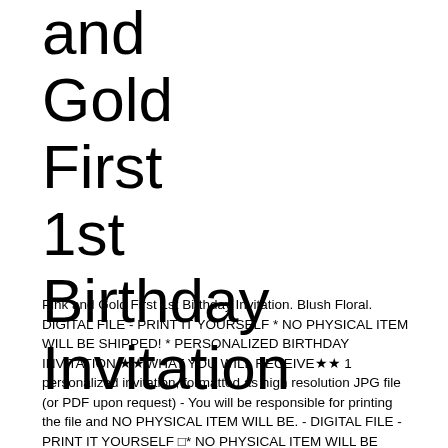and Gold First 1st Birthday Invitation
Pink and Gold First 1st Birthday Invitation. Blush Floral. DIGITAL FILE - PRINT IT YOURSELF * NO PHYSICAL ITEM WILL BE SHIPPED! * PERSONALIZED BIRTHDAY INVITATION ★★WHAT YOU WILL RECEIVE★★ 1 personalized invitation, formatted as high resolution JPG file (or PDF upon request) - You will be responsible for printing the file and NO PHYSICAL ITEM WILL BE. - DIGITAL FILE - PRINT IT YOURSELF □* NO PHYSICAL ITEM WILL BE SHIPPED! *□ PERSONALIZED BIRTHDAY INVITATION□★★WHAT YOU WILL RECEIVE★★□1 personalized invitation, formatted as high resolution JPG file (or PDF upon request) - You will be